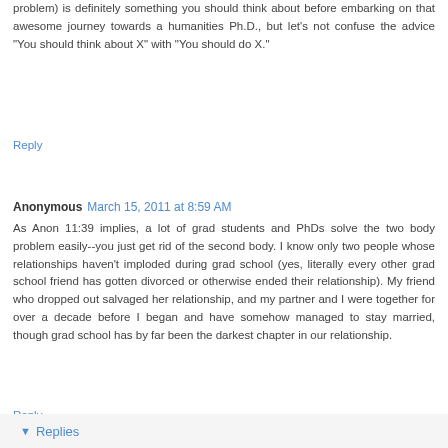problem) is definitely something you should think about before embarking on that awesome journey towards a humanities Ph.D., but let's not confuse the advice "You should think about X" with "You should do X."
Reply
Anonymous March 15, 2011 at 8:59 AM
As Anon 11:39 implies, a lot of grad students and PhDs solve the two body problem easily--you just get rid of the second body. I know only two people whose relationships haven't imploded during grad school (yes, literally every other grad school friend has gotten divorced or otherwise ended their relationship). My friend who dropped out salvaged her relationship, and my partner and I were together for over a decade before I began and have somehow managed to stay married, though grad school has by far been the darkest chapter in our relationship.
Reply
Replies